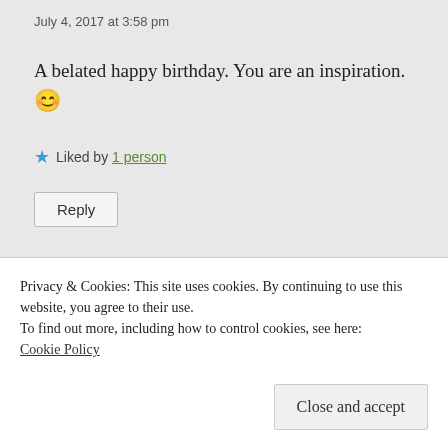July 4, 2017 at 3:58 pm
A belated happy birthday. You are an inspiration. 😊
★ Liked by 1 person
Reply
Dylan B Nelson
Privacy & Cookies: This site uses cookies. By continuing to use this website, you agree to their use.
To find out more, including how to control cookies, see here:
Cookie Policy
Close and accept